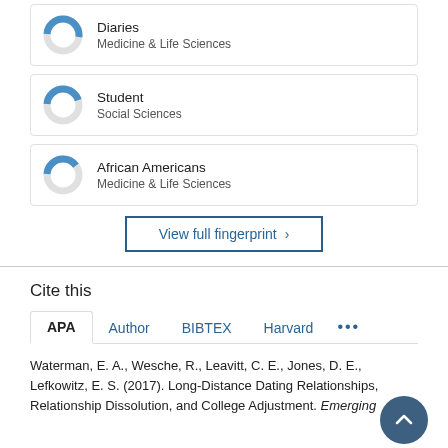[Figure (donut-chart): Donut chart icon for Diaries - Medicine & Life Sciences]
Diaries
Medicine & Life Sciences
[Figure (donut-chart): Donut chart icon for Student - Social Sciences]
Student
Social Sciences
[Figure (donut-chart): Donut chart icon for African Americans - Medicine & Life Sciences]
African Americans
Medicine & Life Sciences
View full fingerprint ›
Cite this
APA  Author  BIBTEX  Harvard  ...
Waterman, E. A., Wesche, R., Leavitt, C. E., Jones, D. E., Lefkowitz, E. S. (2017). Long-Distance Dating Relationships, Relationship Dissolution, and College Adjustment. Emerging